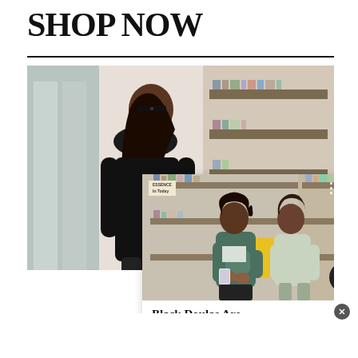SHOP NOW
[Figure (photo): A webpage screenshot showing a 'SHOP NOW' heading with a horizontal divider below it. Behind an overlay popup card is a background photo of a woman in a black leather outfit. The popup card shows two women in a library setting — one pregnant woman in a dark green jacket looking at a phone, and another woman in a light outfit sitting beside her. The card has a small logo, close/navigation buttons, and a headline reading 'Black Doulas Are HealthcareSuperheroes- 21N...' A small close circle button appears at the bottom right corner.]
Black Doulas Are HealthcareSuperheroes- 21N...